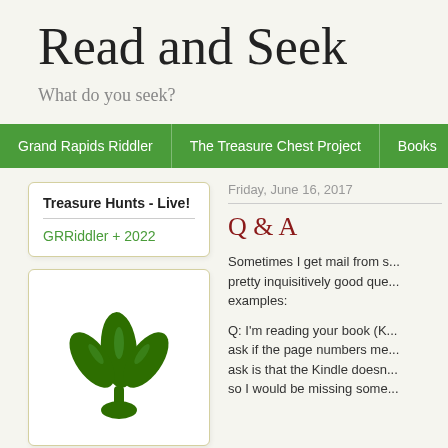Read and Seek
What do you seek?
Grand Rapids Riddler | The Treasure Chest Project | Books
Treasure Hunts - Live!
GRRiddler + 2022
[Figure (illustration): Green fleur-de-lis / three-leaf clover plant icon on white background]
Friday, June 16, 2017
Q & A
Sometimes I get mail from s... pretty inquisitively good que... examples:
Q: I'm reading your book (K... ask if the page numbers me... ask is that the Kindle doesn... so I would be missing some...